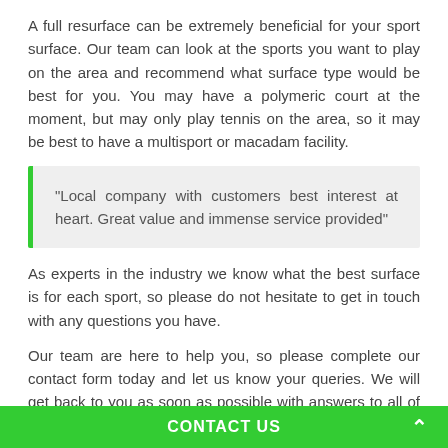A full resurface can be extremely beneficial for your sport surface. Our team can look at the sports you want to play on the area and recommend what surface type would be best for you. You may have a polymeric court at the moment, but may only play tennis on the area, so it may be best to have a multisport or macadam facility.
"Local company with customers best interest at heart. Great value and immense service provided"
As experts in the industry we know what the best surface is for each sport, so please do not hesitate to get in touch with any questions you have.
Our team are here to help you, so please complete our contact form today and let us know your queries. We will get back to you as soon as possible with answers to all of your questions along with a reasonable quote.
CONTACT US